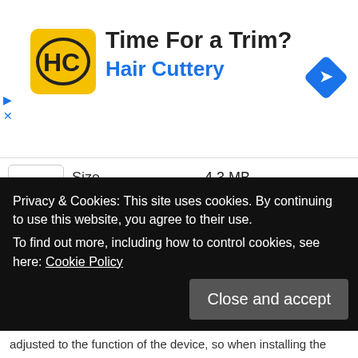[Figure (infographic): Advertisement banner for Hair Cuttery with yellow logo showing HC initials, headline 'Time For a Trim?', subline 'Hair Cuttery', blue diamond navigation icon on right, and ad control icons (play and close) on left]
| Size | 4.3 MB |
| Description | The following firmware upd for HP LJ P2035 and P2035n for use on Mac OS X, 10.5, 10 newer. The utility can be use connection or network conn P2035n). This update is reco HP LJ P2035 printers that ha firmware version. |
Privacy & Cookies: This site uses cookies. By continuing to use this website, you agree to their use.
To find out more, including how to control cookies, see here: Cookie Policy
Close and accept
adjusted to the function of the device, so when installing the